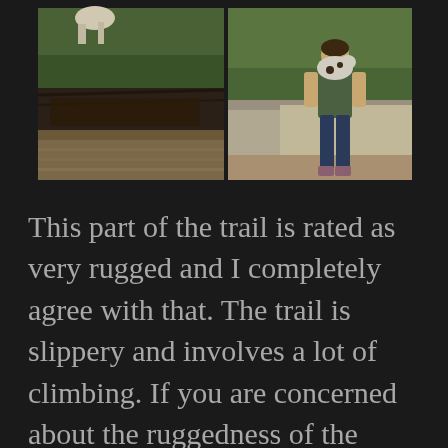[Figure (photo): Two side-by-side outdoor photos. Left photo shows a rocky creek bed with mossy green rocks, shallow water, and what appears to be a horse or light-colored animal partially visible at the top. Right photo shows a woman standing on a large rock formation in a forested area, holding a dog, wearing jeans and a green top.]
This part of the trail is rated as very rugged and I completely agree with that. The trail is slippery and involves a lot of climbing. If you are concerned about the ruggedness of the trail, I highly recommend hiking the beginning of Trail 3 to get a great overview of what Turkey Run is all about. Look for the wooden bridges after crossing the suspension